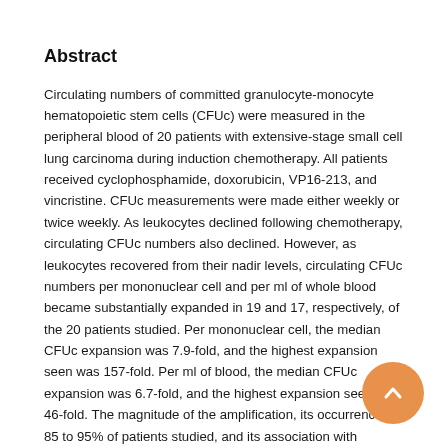Abstract
Circulating numbers of committed granulocyte-monocyte hematopoietic stem cells (CFUc) were measured in the peripheral blood of 20 patients with extensive-stage small cell lung carcinoma during induction chemotherapy. All patients received cyclophosphamide, doxorubicin, VP16-213, and vincristine. CFUc measurements were made either weekly or twice weekly. As leukocytes declined following chemotherapy, circulating CFUc numbers also declined. However, as leukocytes recovered from their nadir levels, circulating CFUc numbers per mononuclear cell and per ml of whole blood became substantially expanded in 19 and 17, respectively, of the 20 patients studied. Per mononuclear cell, the median CFUc expansion was 7.9-fold, and the highest expansion seen was 157-fold. Per ml of blood, the median CFUc expansion was 6.7-fold, and the highest expansion seen was 46-fold. The magnitude of the amplification, its occurrence in 85 to 95% of patients studied, and its association with leukocyte recovery strongly suggest that appropriately timed collections of peripheral blood mononuclear